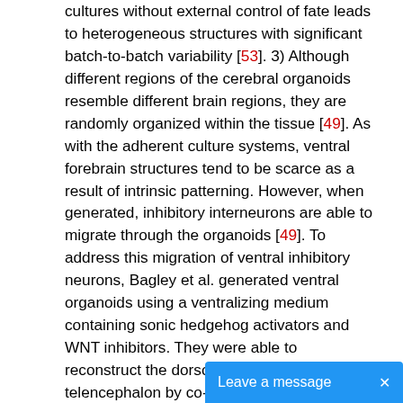cultures without external control of fate leads to heterogeneous structures with significant batch-to-batch variability [53]. 3) Although different regions of the cerebral organoids resemble different brain regions, they are randomly organized within the tissue [49]. As with the adherent culture systems, ventral forebrain structures tend to be scarce as a result of intrinsic patterning. However, when generated, inhibitory interneurons are able to migrate through the organoids [49]. To address this migration of ventral inhibitory neurons, Bagley et al. generated ventral organoids using a ventralizing medium containing sonic hedgehog activators and WNT inhibitors. They were able to reconstruct the dorsoventral axis of the telencephalon by co-culturing ventral and dorsal organoids and found that interneurons migrated from the ventral to the dorsal parts of chimeric organoids [61]. Potentially, the major limitation for cerebral organoids at present is their rapid decrease in survival over time. Cell death, especially in the center of the organoids, increases dramatically potentially due to the lack of vascularization and penetration of nutrients and ga...